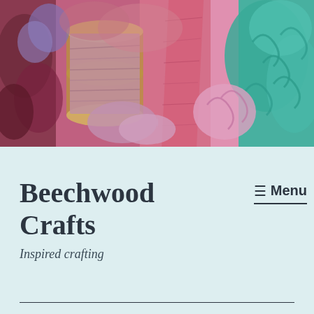[Figure (photo): Close-up photo of colorful yarn and fiber crafting materials including spools and loose fibers in pink, purple, mauve, and teal/green colors]
Beechwood Crafts
Inspired crafting